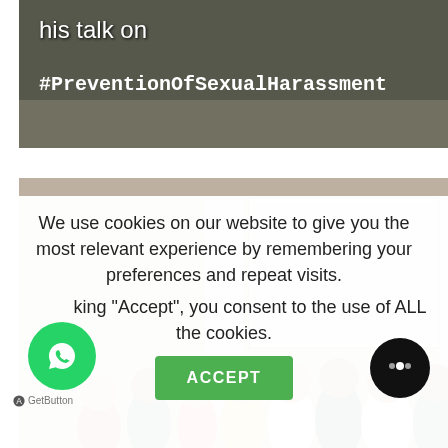[Figure (photo): Partial top image showing text overlay on a dark background, with white text reading 'his talk on #PreventionOfSexualHarassment']
[Figure (photo): Group photo of approximately 10 people standing in a room in front of a projection screen and a branded table banner reading 'Company Secretaries of India'. Caption text reads 'Our Founder Mr.Vishal Kedia']
We use cookies on our website to give you the most relevant experience by remembering your preferences and repeat visits.
By clicking “Accept”, you consent to the use of ALL the cookies.